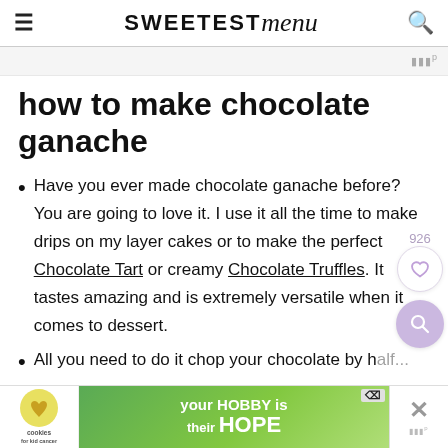SWEETEST menu
how to make chocolate ganache
Have you ever made chocolate ganache before? You are going to love it. I use it all the time to make drips on my layer cakes or to make the perfect Chocolate Tart or creamy Chocolate Truffles. It tastes amazing and is extremely versatile when it comes to dessert.
All you need to do it chop your chocolate by h...
[Figure (screenshot): Advertisement banner: cookies for kid cancer - your HOBBY is their HOPE]
[Figure (screenshot): Social overlay: 926 saves heart button and magnifying glass search button]